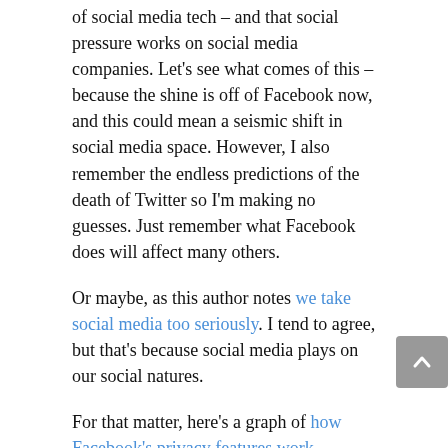of social media tech – and that social pressure works on social media companies. Let's see what comes of this – because the shine is off of Facebook now, and this could mean a seismic shift in social media space. However, I also remember the endless predictions of the death of Twitter so I'm making no guesses. Just remember what Facebook does will affect many others.
Or maybe, as this author notes we take social media too seriously. I tend to agree, but that's because social media plays on our social natures.
For that matter, here's a graph of how Facebook's privacy features work.
Technology:
And the Apple/Adobe ragefest continues as Adobe targets Apple in its ad campaign. Can't say I'm impressed – and considering how much of some markets are owned by Adobe, it sounds a bit hypocritical to criticize freedom. I don't see this as an effective campaign tactic. I see no way this will end